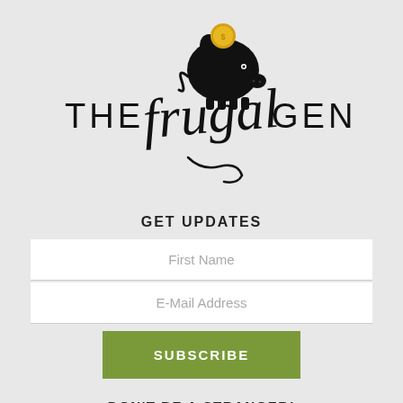[Figure (logo): The Frugal Gene logo: black piggy bank silhouette with gold coin being inserted, handwritten script 'frugal' in center, with 'THE' and 'GENE' in sans-serif capitals on either side]
GET UPDATES
First Name
E-Mail Address
SUBSCRIBE
DON'T BE A STRANGER!